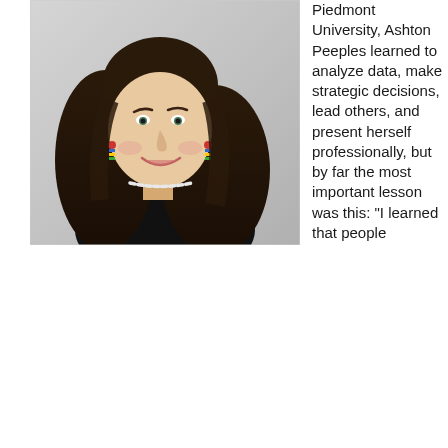[Figure (photo): Headshot of a young woman with long brown wavy hair, smiling, wearing a black sleeveless top, a pearl necklace choker, and colorful dangling earrings. Background is light gray.]
Piedmont University, Ashton Peeples learned to analyze data, make strategic decisions, lead others, and present herself professionally, but by far the most important lesson was this: "I learned that people